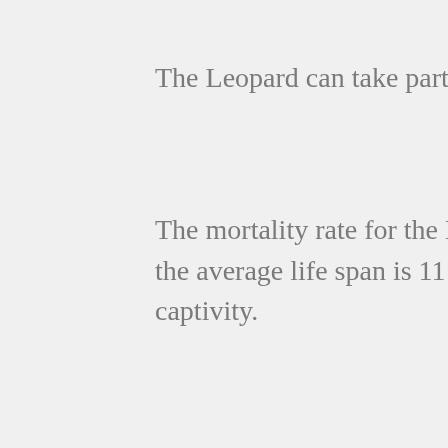The Leopard can take part in mating during any time of the year.
The mortality rate for the Leopard cubs is about 50%. In the wild the average life span is 11 years. It can be almost double that in captivity.
Some of the early rules in Egypt and England had Leopards as pets.
Humans have been attacked and eaten by the Leopard. This is a fact that makes many people nervous. Two Leopards in particular have been noted for one killing more than 125 people and the other more than 400 by the time they were killed. They were both